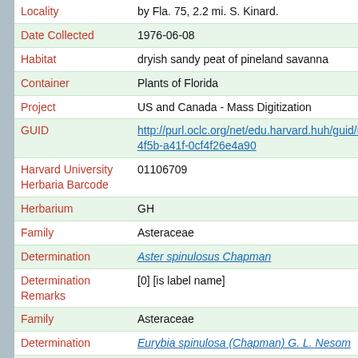| Field | Value |
| --- | --- |
| Locality | by Fla. 75, 2.2 mi. S. Kinard. |
| Date Collected | 1976-06-08 |
| Habitat | dryish sandy peat of pineland savanna |
| Container | Plants of Florida |
| Project | US and Canada - Mass Digitization |
| GUID | http://purl.oclc.org/net/edu.harvard.huh/guid/uuid/3cc0553-4f5b-a41f-0cf4f26e4a90 |
| Harvard University Herbaria Barcode | 01106709 |
| Herbarium | GH |
| Family | Asteraceae |
| Determination | Aster spinulosus Chapman |
| Determination Remarks | [0] [is label name] |
| Family | Asteraceae |
| Determination | Eurybia spinulosa (Chapman) G. L. Nesom |
| Determination Remarks | [is filed under name] |
| Family | Asteraceae |
| Determination | Aster spinulosus Chapman |